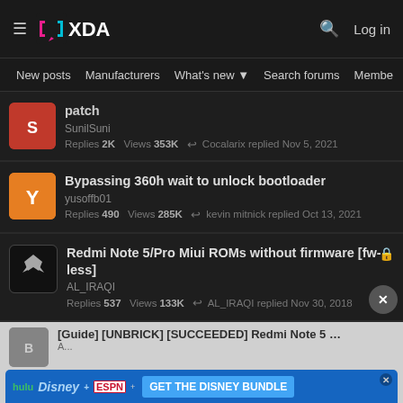XDA Developers - New posts | Manufacturers | What's new | Search forums | Members
patch
SunilSuni
Replies 2K  Views 353K  ↩ Cocalarix replied Nov 5, 2021
Bypassing 360h wait to unlock bootloader
yusoffb01
Replies 490  Views 285K  ↩ kevin mitnick replied Oct 13, 2021
Redmi Note 5/Pro Miui ROMs without firmware [fw-less]
AL_IRAQI
Replies 537  Views 133K  ↩ AL_IRAQI replied Nov 30, 2018
[Figure (screenshot): Advertisement banner for Disney Bundle featuring Hulu, Disney+, and ESPN+ logos with 'GET THE DISNEY BUNDLE' call to action button]
[Guide] [UNBRICK] [SUCCEEDED] Redmi Note 5 Pro
Replies 91  Views 112K  ↩ Hritvik_001 replied Oct 21, 2021